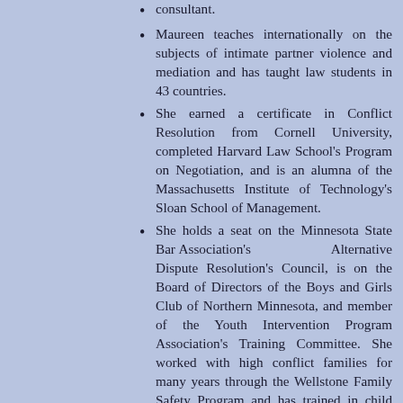consultant.
Maureen teaches internationally on the subjects of intimate partner violence and mediation and has taught law students in 43 countries.
She earned a certificate in Conflict Resolution from Cornell University, completed Harvard Law School’s Program on Negotiation, and is an alumna of the Massachusetts Institute of Technology’s Sloan School of Management.
She holds a seat on the Minnesota State Bar Association’s Alternative Dispute Resolution’s Council, is on the Board of Directors of the Boys and Girls Club of Northern Minnesota, and member of the Youth Intervention Program Association’s Training Committee. She worked with high conflict families for many years through the Wellstone Family Safety Program and has trained in child growth and development, and addiction dynamics.